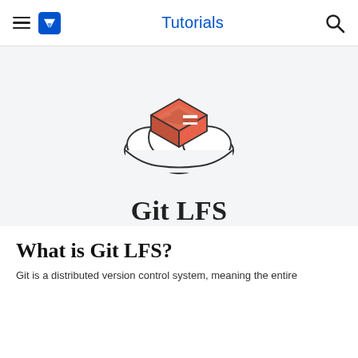Tutorials
[Figure (illustration): Git LFS logo: an isometric orange Git logo (cube/box shape) sitting on top of a white cloud illustration, with dark outlines]
Git LFS
What is Git LFS?
Git is a distributed version control system, meaning the entire